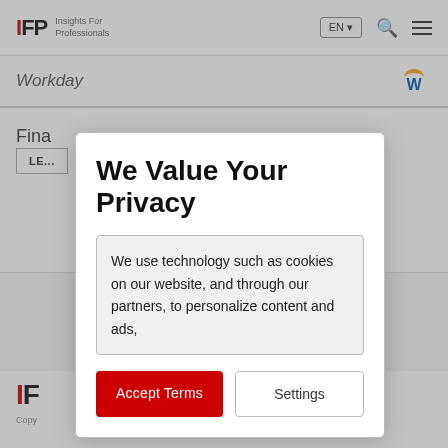IFP Insights For Professionals
Workday
Fina... erprise
We Value Your Privacy
We use technology such as cookies on our website, and through our partners, to personalize content and ads,
Accept Terms
Settings
IF
Copy